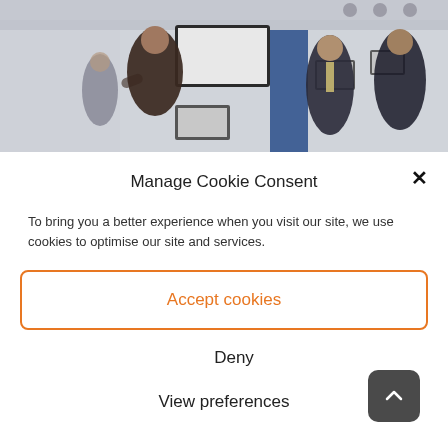[Figure (photo): People in a conference/exhibition hall with screens and displays, motion blurred, blue column in background]
Manage Cookie Consent
To bring you a better experience when you visit our site, we use cookies to optimise our site and services.
Accept cookies
Deny
View preferences